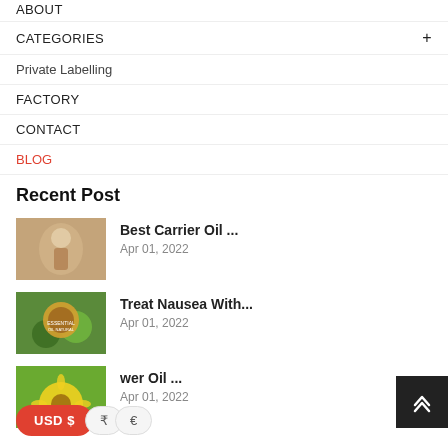ABOUT
CATEGORIES +
Private Labelling
FACTORY
CONTACT
BLOG
Recent Post
Best Carrier Oil ...
Apr 01, 2022
Treat Nausea With...
Apr 01, 2022
wer Oil ...
Apr 01, 2022
USD $  ₹  €